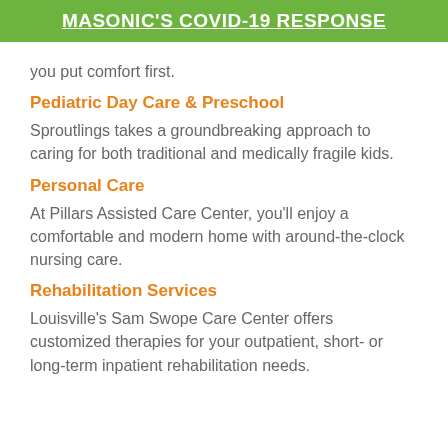MASONIC'S COVID-19 RESPONSE
you put comfort first.
Pediatric Day Care & Preschool
Sproutlings takes a groundbreaking approach to caring for both traditional and medically fragile kids.
Personal Care
At Pillars Assisted Care Center, you'll enjoy a comfortable and modern home with around-the-clock nursing care.
Rehabilitation Services
Louisville's Sam Swope Care Center offers customized therapies for your outpatient, short- or long-term inpatient rehabilitation needs.